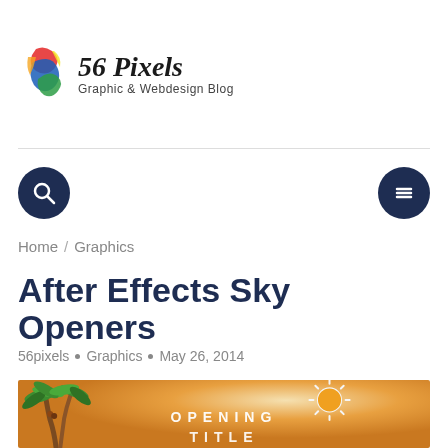56 Pixels — Graphic & Webdesign Blog
Home / Graphics
After Effects Sky Openers
56pixels • Graphics • May 26, 2014
[Figure (illustration): Preview image of After Effects Sky Openers template showing a tropical beach scene with palm trees and a sun, with text 'OPENING TITLE' on an orange gradient background.]